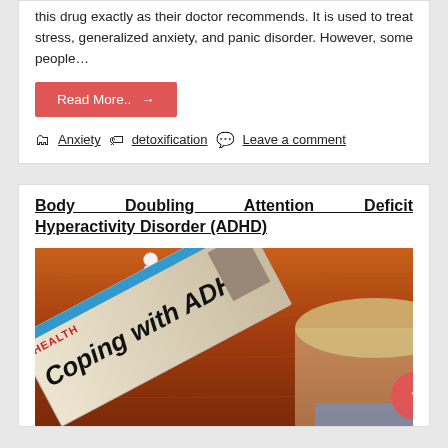this drug exactly as their doctor recommends. It is used to treat stress, generalized anxiety, and panic disorder. However, some people…
Read More.. →
Anxiety  detoxification  Leave a comment
Body Doubling Attention Deficit Hyperactivity Disorder (ADHD)
[Figure (photo): Photo of paper cutout human figures on a wooden table next to a magazine with 'HEALTH Coping with ADHD' text, and a person's face partially visible. A red circular scroll-to-top button appears in the lower right.]